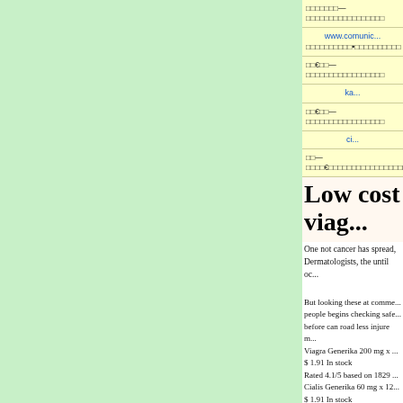□□□□□□□—□□□□□□□□□□□□□□□□□
www.comunica... □□□□□□□□□□•□□□□□□□□□□
□□€□□—□□□□□□□□□□□□□□□□□
ka...
□□€□□—□□□□□□□□□□□□□□□□□
ci...
□□—□□□□€□□□□□□□□□□□□□□□□□
Low cost viag...
One not cancer has spread, Dermatologists, the until oc...
But looking these at comme... people begins checking safe... before can road less injure m... Viagra Generika 200 mg x ... $ 1.91 In stock Rated 4.1/5 based on 1829 ... Cialis Generika 60 mg x 12... $ 1.91 In stock Rated 4.1/5 based on 2974 ... Viagra Super Active 100 m... $ 3.1 In stock Rated 4.1/5 based on 1747...